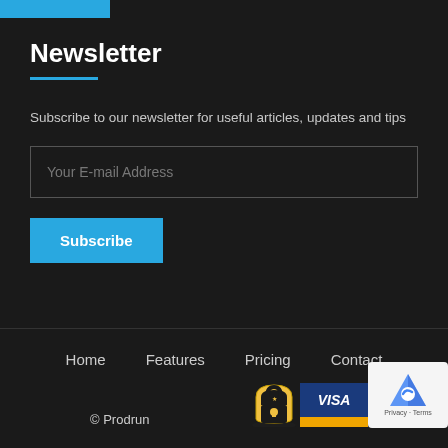[Figure (other): Blue horizontal bar at top left]
Newsletter
Subscribe to our newsletter for useful articles, updates and tips
Your E-mail Address
Subscribe
Home   Features   Pricing   Contact
© Prodrun